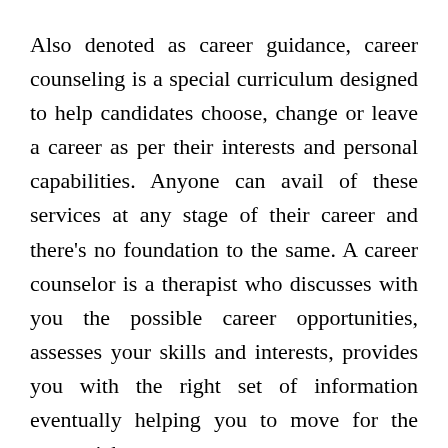Also denoted as career guidance, career counseling is a special curriculum designed to help candidates choose, change or leave a career as per their interests and personal capabilities. Anyone can avail of these services at any stage of their career and there’s no foundation to the same. A career counselor is a therapist who discusses with you the possible career opportunities, assesses your skills and interests, provides you with the right set of information eventually helping you to move for the smart pick.
Career design programs are proven to be effective for enhancing career decisions, self-confidence and cutting down career tension. Reports suggest career counseling